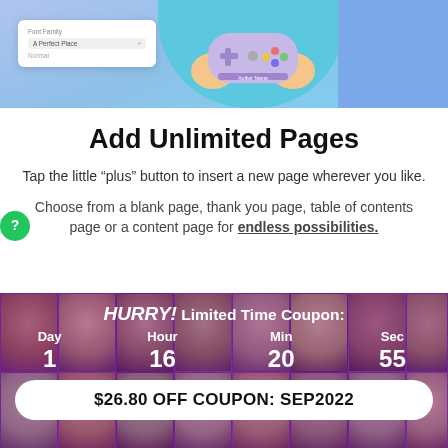[Figure (screenshot): App UI screenshot showing a game controller on a teal background with a font family selector panel on the left]
Add Unlimited Pages
Tap the little “plus” button to insert a new page wherever you like.
Choose from a blank page, thank you page, table of contents page or a content page for endless possibilities.
HURRY! Limited Time Coupon:
| Day | Hour | Min | Sec |
| --- | --- | --- | --- |
| 1 | 16 | 20 | 55 |
$26.80 OFF COUPON: SEP2022